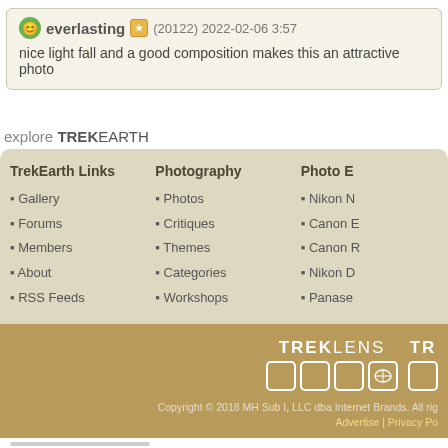everlasting (20122) 2022-02-06 3:57
nice light fall and a good composition makes this an attractive photo
explore TREKEARTH
TrekEarth Links
• Gallery
• Forums
• Members
• About
• RSS Feeds
Photography
• Photos
• Critiques
• Themes
• Categories
• Workshops
Photo E
• Nikon
• Canon
• Canon
• Nikon
• Panase
[Figure (logo): TREKLENS logo with boxes and TREKEARTH logo]
Copyright © 2018 MH Sub I, LLC dba Internet Brands. All rights reserved. Advertise | Privacy Policy